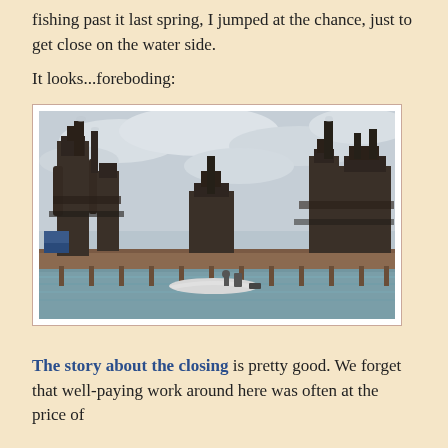fishing past it last spring, I jumped at the chance, just to get close on the water side.
It looks...foreboding:
[Figure (photo): Photograph of a large abandoned industrial steel mill complex viewed from the water side, with tall rusty blast furnaces and smokestacks against a cloudy sky. A small motorboat is in the foreground on the water.]
The story about the closing is pretty good. We forget that well-paying work around here was often at the price of